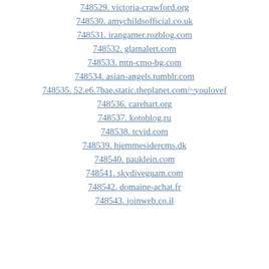748529. victoria-crawford.org
748530. amychildsofficial.co.uk
748531. irangamer.rozblog.com
748532. glamalert.com
748533. mtn-cmo-bg.com
748534. asian-angels.tumblr.com
748535. 52.e6.7bae.static.theplanet.com/~youlovef
748536. carehart.org
748537. kotoblog.ru
748538. tcvid.com
748539. hjemmesidercms.dk
748540. pauklein.com
748541. skydiveguam.com
748542. domaine-achat.fr
748543. joinweb.co.il